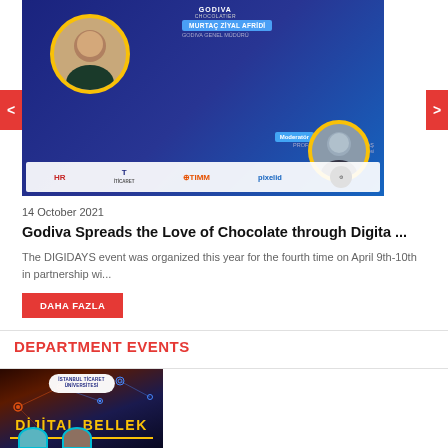[Figure (photo): Godiva event promotional banner with speakers Murtaç Ziyal Afridi and Prof. Dr. Celalettin Aktaş, DIGIDAYS event, dark blue background with sponsor logos (HR, T, TIMM, pixelid, and another logo)]
14 October 2021
Godiva Spreads the Love of Chocolate through Digita ...
The DIGIDAYS event was organized this year for the fourth time on April 9th-10th in partnership wi...
DAHA FAZLA
DEPARTMENT EVENTS
[Figure (photo): Istanbul Ticaret Üniversitesi event banner with title 'DİJİTAL BELLEK' in yellow text on dark background with network graphics and partial speaker photos at bottom]